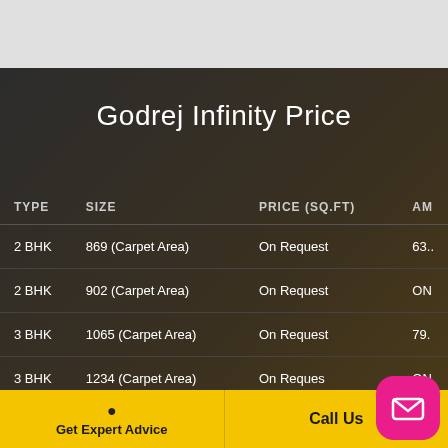Godrej Infinity Price
| TYPE | SIZE | PRICE (SQ.FT) | AM... |
| --- | --- | --- | --- |
| 2 BHK | 869 (Carpet Area) | On Request | 63... |
| 2 BHK | 902 (Carpet Area) | On Request | ON... |
| 3 BHK | 1065 (Carpet Area) | On Request | 79... |
| 3 BHK | 1234 (Carpet Area) | On Request | ON... |
Get Expert Advice
Call Us